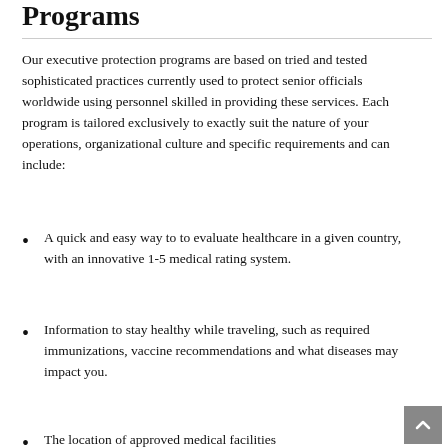Programs
Our executive protection programs are based on tried and tested sophisticated practices currently used to protect senior officials worldwide using personnel skilled in providing these services. Each program is tailored exclusively to exactly suit the nature of your operations, organizational culture and specific requirements and can include:
A quick and easy way to to evaluate healthcare in a given country, with an innovative 1-5 medical rating system.
Information to stay healthy while traveling, such as required immunizations, vaccine recommendations and what diseases may impact you.
The location of approved medical facilities